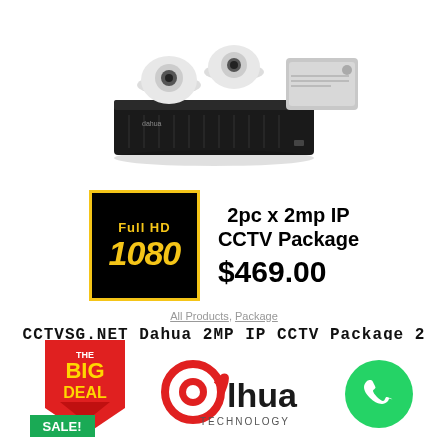[Figure (photo): Product photo of Dahua CCTV surveillance kit including DVR recorder, two dome cameras, and a hard drive]
[Figure (logo): Full HD 1080 badge - black background with yellow text showing 'Full HD' and '1080']
2pc x 2mp IP CCTV Package $469.00
All Products, Package
CCTVSG.NET Dahua 2MP IP CCTV Package 2
Add to cart
[Figure (logo): The Big Deal red badge with SALE! green banner]
[Figure (logo): Dahua Technology logo in red and black]
[Figure (logo): WhatsApp green circle icon]